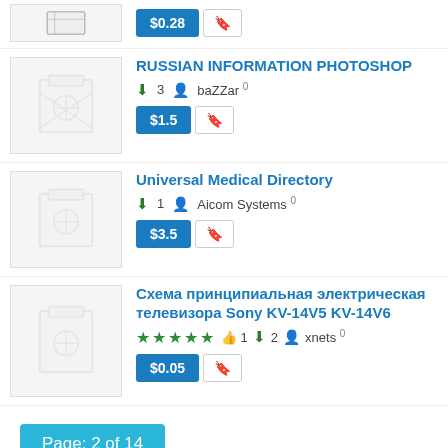[Figure (screenshot): Top partial listing showing price $0.28 and bookmark button]
RUSSIAN INFORMATION PHOTOSHOP — 3 downloads, baZZar, 0 ratings, $1.5
Universal Medical Directory — 1 download, Aicom Systems, 0 ratings, $3.5
Схема принципиальная электрическая телевизора Sony KV-14V5 KV-14V6 — 4 stars, 1 like, 2 downloads, xnets, 0 ratings, $0.05
Page: 2 of 14